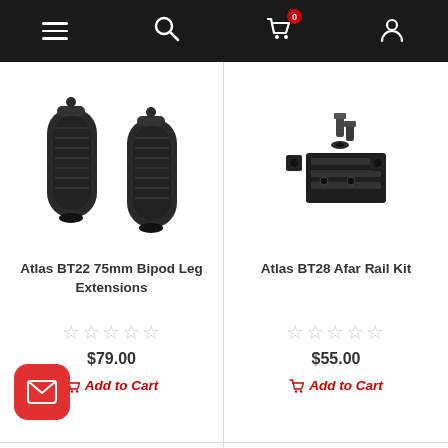Navigation bar with menu, search, cart (0 items), and account icons
[Figure (photo): Two black knurled cylindrical bipod leg extension tubes side by side]
Atlas BT22 75mm Bipod Leg Extensions
☆☆☆☆☆
$79.00
Add to Cart
[Figure (photo): Disassembled black rail mounting kit with screws, nuts, and rail segments]
Atlas BT28 Afar Rail Kit
☆☆☆☆☆
$55.00
Add to Cart